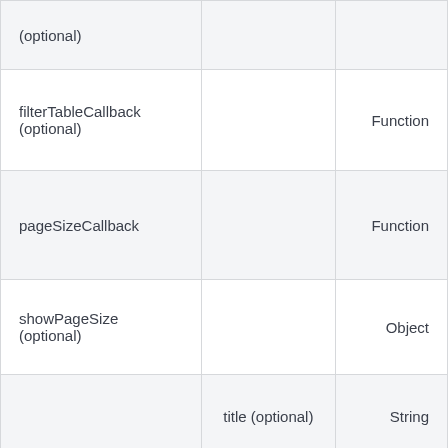| (optional) |  |  |
| filterTableCallback
(optional) |  | Function |
| pageSizeCallback |  | Function |
| showPageSize
(optional) |  | Object |
|  | title (optional) | String |
|  | defaultValue | Integer |